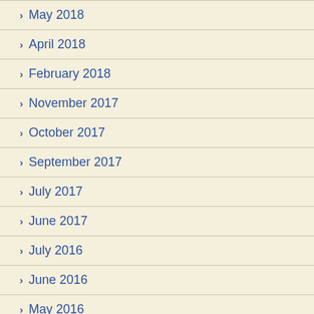May 2018
April 2018
February 2018
November 2017
October 2017
September 2017
July 2017
June 2017
July 2016
June 2016
May 2016